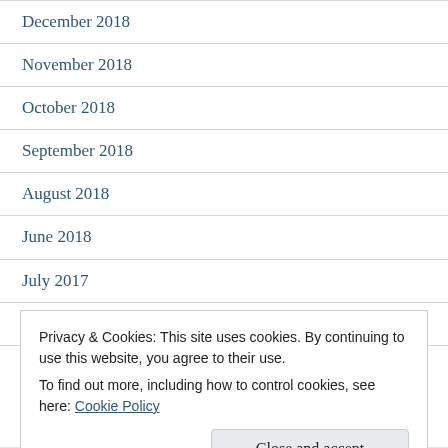December 2018
November 2018
October 2018
September 2018
August 2018
June 2018
July 2017
May 2017
Privacy & Cookies: This site uses cookies. By continuing to use this website, you agree to their use.
To find out more, including how to control cookies, see here: Cookie Policy
December 2016